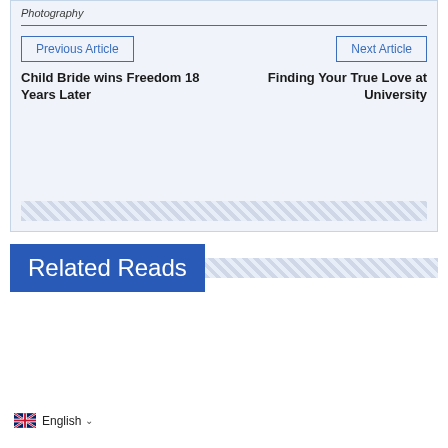Photography
Previous Article
Next Article
Child Bride wins Freedom 18 Years Later
Finding Your True Love at University
Related Reads
English